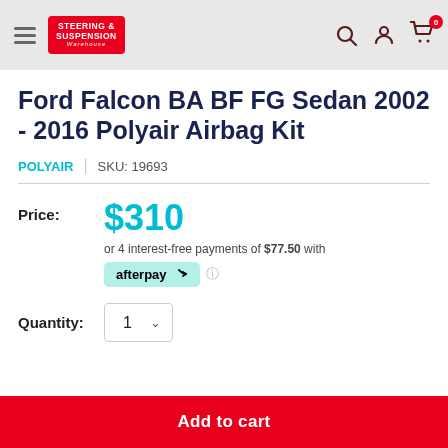[Figure (logo): Steering & Suspension Warehouse logo on red background, with hamburger menu, search, account, and cart icons in header]
Ford Falcon BA BF FG Sedan 2002 - 2016 Polyair Airbag Kit
POLYAIR | SKU: 19693
Price: $310 or 4 interest-free payments of $77.50 with afterpay
Quantity: 1
Add to cart